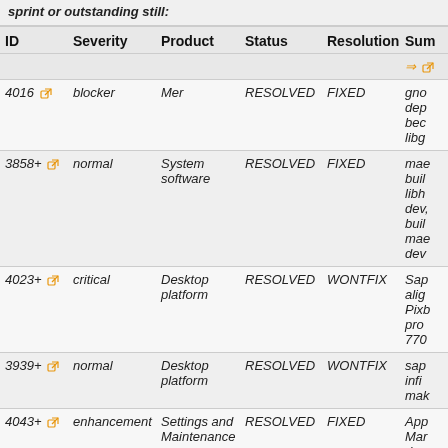sprint or outstanding still:
| ID | Severity | Product | Status | Resolution | Sum |
| --- | --- | --- | --- | --- | --- |
| 4016 | blocker | Mer | RESOLVED | FIXED | gno dep bec libg |
| 3858+ | normal | System software | RESOLVED | FIXED | mae buil libh dev, buil mae dev |
| 4023+ | critical | Desktop platform | RESOLVED | WONTFIX | Sap alig Pixb pro 770 |
| 3939+ | normal | Desktop platform | RESOLVED | WONTFIX | sap infi mak |
| 4043+ | enhancement | Settings and Maintenance | RESOLVED | FIXED | App Mar dep |